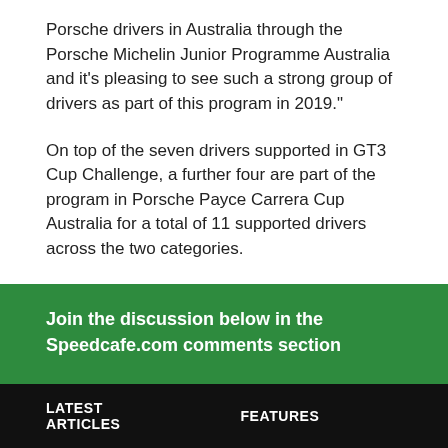Porsche drivers in Australia through the Porsche Michelin Junior Programme Australia and it's pleasing to see such a strong group of drivers as part of this program in 2019."
On top of the seven drivers supported in GT3 Cup Challenge, a further four are part of the program in Porsche Payce Carrera Cup Australia for a total of 11 supported drivers across the two categories.
Join the discussion below in the Speedcafe.com comments section
LATEST ARTICLES   FEATURES